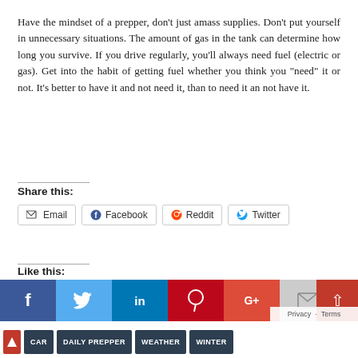Have the mindset of a prepper, don't just amass supplies. Don't put yourself in unnecessary situations. The amount of gas in the tank can determine how long you survive. If you drive regularly, you'll always need fuel (electric or gas). Get into the habit of getting fuel whether you think you “need” it or not. It’s better to have it and not need it, than to need it an not have it.
Share this:
[Figure (infographic): Share buttons for Email, Facebook, Reddit, and Twitter]
Like this:
Loading...
[Figure (infographic): Social media icon bar with Facebook, Twitter, LinkedIn, Pinterest, Google+, Email icons and scroll-to-top button]
[Figure (infographic): Tag bar at bottom with CAR, DAILY PREPPER, WEATHER, WINTER tags]